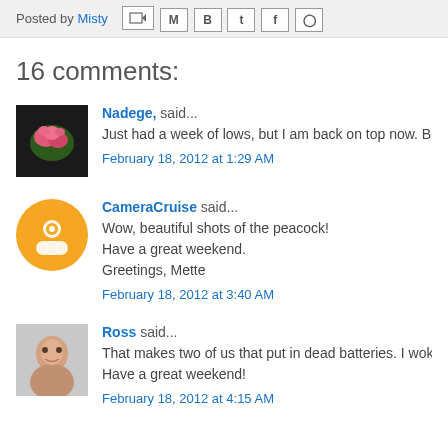Posted by Misty
16 comments:
Nadege, said...
Just had a week of lows, but I am back on top now. Beautiful imag
February 18, 2012 at 1:29 AM
CameraCruise said...
Wow, beautiful shots of the peacock!
Have a great weekend.
Greetings, Mette
February 18, 2012 at 3:40 AM
Ross said...
That makes two of us that put in dead batteries. I woke up to one o
Have a great weekend!
February 18, 2012 at 4:15 AM